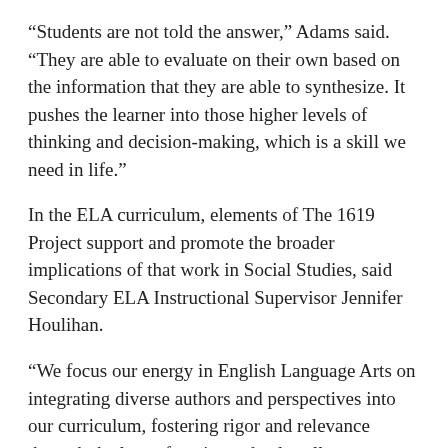“Students are not told the answer,” Adams said. “They are able to evaluate on their own based on the information that they are able to synthesize. It pushes the learner into those higher levels of thinking and decision-making, which is a skill we need in life.”
In the ELA curriculum, elements of The 1619 Project support and promote the broader implications of that work in Social Studies, said Secondary ELA Instructional Supervisor Jennifer Houlihan.
“We focus our energy in English Language Arts on integrating diverse authors and perspectives into our curriculum, fostering rigor and relevance through the lens of equity and culturally response education,” Houlihan said.
“We are constantly closely examining our curriculum to ensure we are lifting the voices of our students while also attending to voices in the texts we teach that have